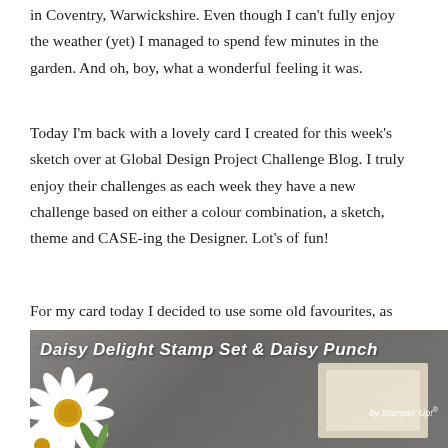in Coventry, Warwickshire. Even though I can't fully enjoy the weather (yet) I managed to spend few minutes in the garden. And oh, boy, what a wonderful feeling it was.
Today I'm back with a lovely card I created for this week's sketch over at Global Design Project Challenge Blog. I truly enjoy their challenges as each week they have a new challenge based on either a colour combination, a sketch, theme and CASE-ing the Designer. Lot's of fun!
For my card today I decided to use some old favourites, as well as a sneak peek of new, coming soon bundle: Daisy Delight Stamp Set and coordinating Daisy Punch.
[Figure (photo): Banner image showing 'Daisy Delight Stamp Set & Daisy Punch by Stampin Up!' text over a wood grain background with white daisy flowers on the left and a card sample on the right]